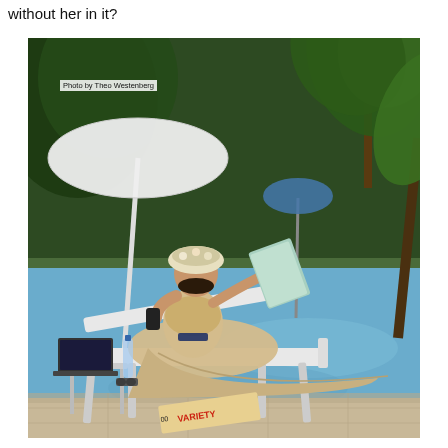without her in it?
[Figure (photo): A woman in a Regency-era cream dress and floral bonnet reclines on a white pool lounge chair by a swimming pool. She holds a phone to her ear with one hand and a book/tablet in the other. A laptop, water bottle, sunglasses, and a Variety magazine are on a small table beside her. Palm trees and a beach umbrella are visible in the background. Photo credit: Photo by Theo Westenberg.]
Photo by Theo Westenberg